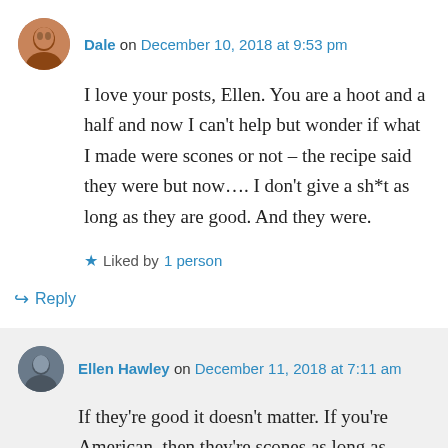Dale on December 10, 2018 at 9:53 pm
I love your posts, Ellen. You are a hoot and a half and now I can't help but wonder if what I made were scones or not – the recipe said they were but now…. I don't give a sh*t as long as they are good. And they were.
Liked by 1 person
Reply
Ellen Hawley on December 11, 2018 at 7:11 am
If they're good it doesn't matter. If you're American, then they're scones as long as